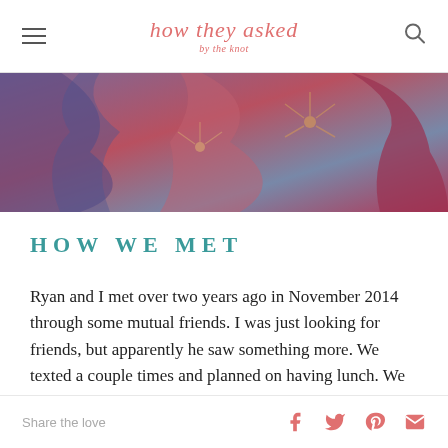how they asked by the knot
[Figure (photo): Partial top photo of decorated items, colorful fabric and jewelry, cropped at top of page]
How We Met
Ryan and I met over two years ago in November 2014 through some mutual friends. I was just looking for friends, but apparently he saw something more. We texted a couple times and planned on having lunch. We had a great time until he dropped the bomb saying “I was really nervous to ask you on this date.” My response was, “Wait… this is a date?” We both had a great
Share the love